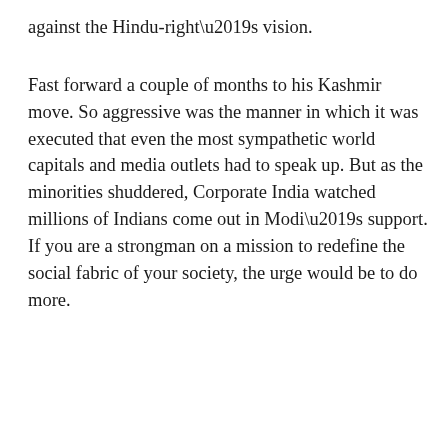against the Hindu-right's vision.
Fast forward a couple of months to his Kashmir move. So aggressive was the manner in which it was executed that even the most sympathetic world capitals and media outlets had to speak up. But as the minorities shuddered, Corporate India watched millions of Indians come out in Modi's support. If you are a strongman on a mission to redefine the social fabric of your society, the urge would be to do more.